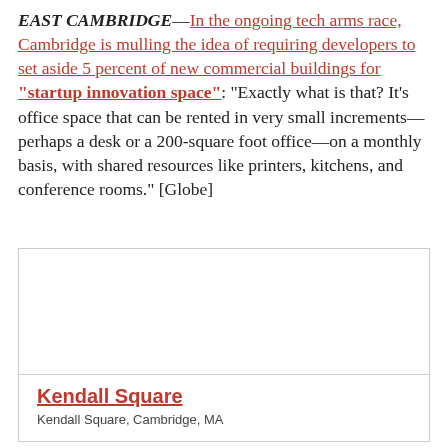EAST CAMBRIDGE—In the ongoing tech arms race, Cambridge is mulling the idea of requiring developers to set aside 5 percent of new commercial buildings for "startup innovation space": "Exactly what is that? It's office space that can be rented in very small increments—perhaps a desk or a 200-square foot office—on a monthly basis, with shared resources like printers, kitchens, and conference rooms." [Globe]
[Figure (other): Card with image area (white box) and caption showing 'Kendall Square' title and 'Kendall Square, Cambridge, MA' subtitle]